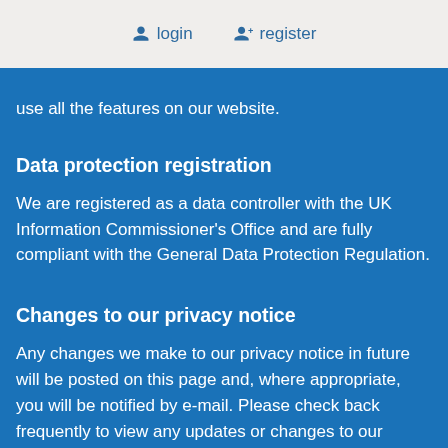login   register
... you may also be unable to use all the features on our website.
Data protection registration
We are registered as a data controller with the UK Information Commissioner's Office and are fully compliant with the General Data Protection Regulation.
Changes to our privacy notice
Any changes we make to our privacy notice in future will be posted on this page and, where appropriate, you will be notified by e-mail. Please check back frequently to view any updates or changes to our privacy notice or for further information.